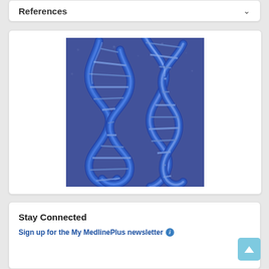References
[Figure (illustration): 3D rendering of a blue DNA double helix structure against a blue textured background]
Stay Connected
Sign up for the My MedlinePlus newsletter